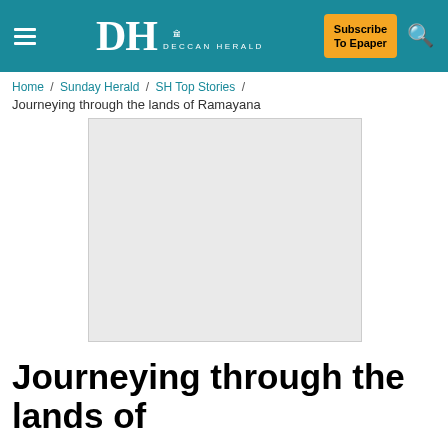DH DECCAN HERALD | Subscribe To Epaper
Home / Sunday Herald / SH Top Stories /
Journeying through the lands of Ramayana
[Figure (photo): Placeholder image area for article photo]
Journeying through the lands of